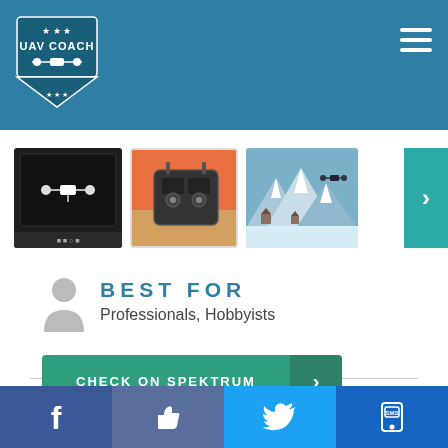[Figure (screenshot): UAV Coach website navigation header with logo and hamburger menu on teal/blue background]
[Figure (photo): Drone flight simulator screenshot showing white drone on dark background]
[Figure (photo): RC transmitter controller on orange/sunset background]
[Figure (photo): Drone flying over snowy mountain village landscape]
BEST FOR
Professionals, Hobbyists
CHECK ON SPEKTRUM
The Phoenix R/C Pro Flight Simulator has been on the market
[Figure (infographic): Social media sharing bar with Facebook, Like, Twitter, and SMS buttons]